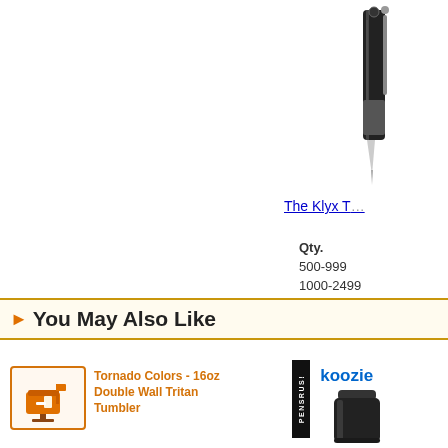[Figure (photo): Partial view of a black pen (The Klyx T) shown at top-right of page, cropped]
The Klyx T
| Qty. |
| --- |
| 500-999 |
| 1000-2499 |
| 2500-4999 |
| 5000+ |
[Figure (other): More Details button with red icon]
You May Also Like
[Figure (photo): Tornado Colors - 16oz Double Wall Tritan Tumbler product thumbnail, orange/brown mailbox icon]
Tornado Colors - 16oz Double Wall Tritan Tumbler
[Figure (logo): PENSRUS vertical badge in black]
koozie